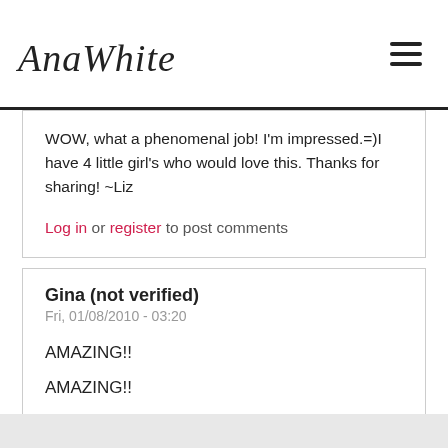Ana White
WOW, what a phenomenal job! I'm impressed.=)I have 4 little girl's who would love this. Thanks for sharing! ~Liz
Log in or register to post comments
Gina (not verified)
Fri, 01/08/2010 - 03:20
AMAZING!!

AMAZING!!
Log in or register to post comments